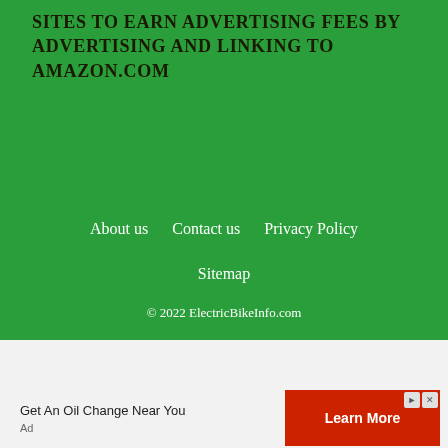DESIGNED TO PROVIDE A MEANS FOR SITES TO EARN ADVERTISING FEES BY ADVERTISING AND LINKING TO AMAZON.COM
About us   Contact us   Privacy Policy   Sitemap   © 2022 ElectricBikeInfo.com
[Figure (other): Advertisement banner: 'Get An Oil Change Near You' with a red 'Learn More' button and Ad label]